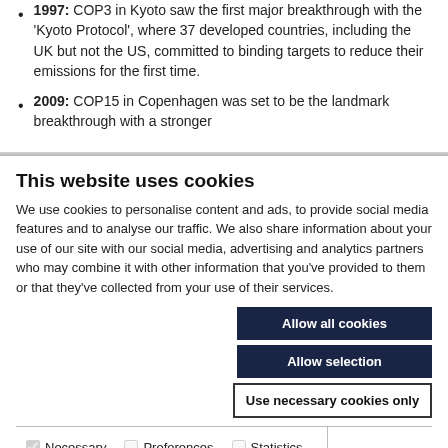1997: COP3 in Kyoto saw the first major breakthrough with the 'Kyoto Protocol', where 37 developed countries, including the UK but not the US, committed to binding targets to reduce their emissions for the first time.
2009: COP15 in Copenhagen was set to be the landmark breakthrough with a stronger
This website uses cookies
We use cookies to personalise content and ads, to provide social media features and to analyse our traffic. We also share information about your use of our site with our social media, advertising and analytics partners who may combine it with other information that you've provided to them or that they've collected from your use of their services.
Allow all cookies
Allow selection
Use necessary cookies only
Necessary  Preferences  Statistics  Marketing  Show details